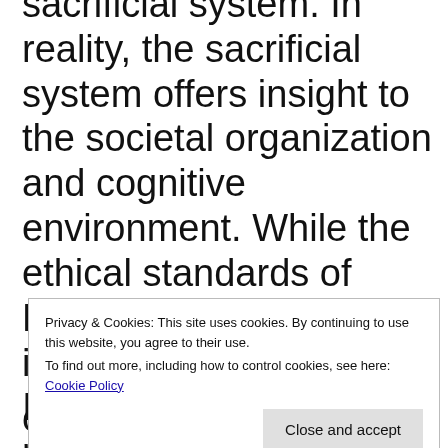sacrificial system. In reality, the sacrificial system offers insight to the societal organization and cognitive environment. While the ethical standards of Leviticus are most clear in displaying ancient Israel to the modern reader (cf. Lev 18-19), the environment can also
Privacy & Cookies: This site uses cookies. By continuing to use this website, you agree to their use.
To find out more, including how to control cookies, see here: Cookie Policy
of sin offerings (Lev 4). In it, the sin